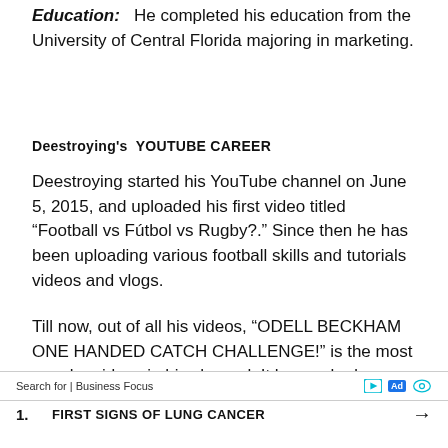Education: He completed his education from the University of Central Florida majoring in marketing.
Deestroying's YOUTUBE CAREER
Deestroying started his YouTube channel on June 5, 2015, and uploaded his first video titled “Football vs Fútbol vs Rugby?.” Since then he has been uploading various football skills and tutorials videos and vlogs.
Till now, out of all his videos, “ODELL BECKHAM ONE HANDED CATCH CHALLENGE!” is the most popular videos in his channel. It has racked more than 1.6 million views as of now.
Search for | Business Focus
1. FIRST SIGNS OF LUNG CANCER →